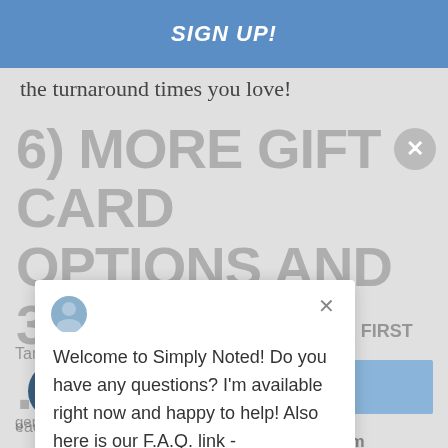SIGN UP!
the turnaround times you love!
6) MORE GIFT CARD OPTIONS AND 3PL ... FREE
Welcome to Simply Noted! Do you have any questions? I'm available right now and happy to help! Also here is our F.A.Q. link - https://simplynoted.com/pages...
RECEIVE YOUR FIRST
include a gift with
that service is
be able to add
Target, GrubHub, and Happy Dining gift cards
Subscribe
each card we mail, expanding our already
NEED A CUSTOM ORDER?
generous offerings. You buy them along with
Email support@simplynoted.com